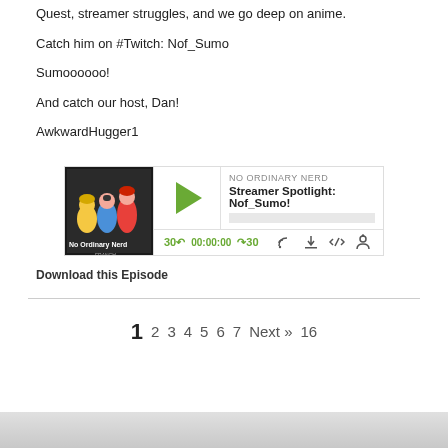Quest, streamer struggles, and we go deep on anime.
Catch him on #Twitch: Nof_Sumo
Sumoooooo!
And catch our host, Dan!
AwkwardHugger1
[Figure (screenshot): Podcast audio player widget for 'NO ORDINARY NERD' episode 'Streamer Spotlight: Nof_Sumo!' with play button, timestamp 00:00:00, skip controls, and icons for RSS, download, embed, and share.]
Download this Episode
1 2 3 4 5 6 7 Next » 16